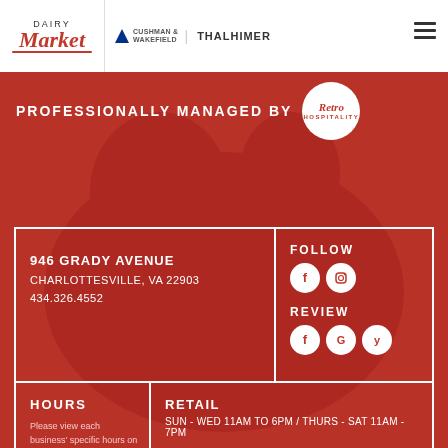[Figure (logo): Dairy Market logo with script 'Market' text in red, and Cushman & Wakefield Thalhimer branding]
PROFESSIONALLY MANAGED BY
[Figure (logo): Retro Hospitality circular badge logo]
946 GRADY AVENUE
CHARLOTTESVILLE, VA 22903
434.326.4552
FOLLOW
[Figure (logo): Facebook and Instagram social media icons for FOLLOW]
REVIEW
[Figure (logo): Facebook, Google, and Yelp review icons]
HOURS
Please view each business' specific hours on the directory page.
RETAIL
SUN - WED 11AM TO 6PM / THURS - SAT 11AM - 7PM
FOOD HALL
SUN - THURS 8AM TO 9PM / FRI & SAT 8AM TO 10PM